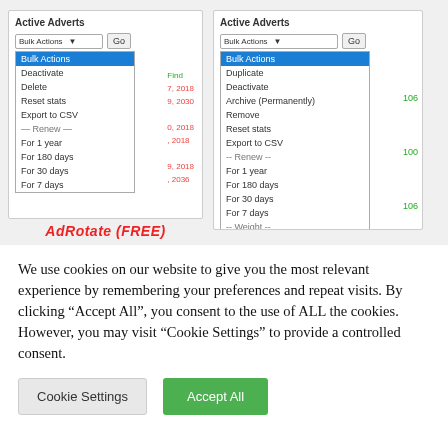[Figure (screenshot): Two side-by-side screenshots of 'Active Adverts' admin UI showing Bulk Actions dropdown menus. Left screenshot (AdRotate FREE) shows fewer options: Bulk Actions, Deactivate, Delete, Reset stats, Export to CSV, Renew (For 1 year, For 180 days, For 30 days, For 7 days). Right screenshot shows more options including Duplicate, Archive (Permanently), Remove, Weight options (2-Barely visible, 4-Less than average, 6-Normal coverage, 8-More than average, 10-Best visibility).]
AdRotate (FREE)
We use cookies on our website to give you the most relevant experience by remembering your preferences and repeat visits. By clicking "Accept All", you consent to the use of ALL the cookies. However, you may visit "Cookie Settings" to provide a controlled consent.